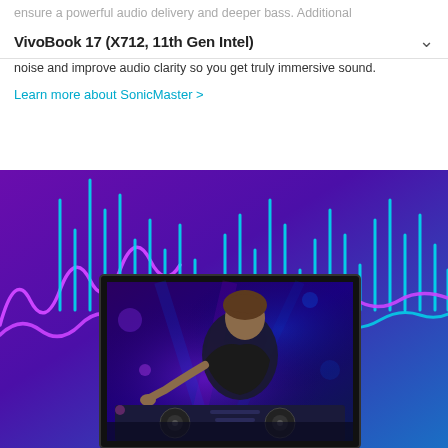VivoBook 17 (X712, 11th Gen Intel)
ensure a powerful audio delivery and deeper bass. Additional noise and improve audio clarity so you get truly immersive sound.
Learn more about SonicMaster >
[Figure (photo): Promotional image with a purple/blue gradient background featuring animated equalizer bars in purple and cyan colors. In the center is a laptop screen showing a female DJ performing at a turntable setup under colorful stage lighting.]